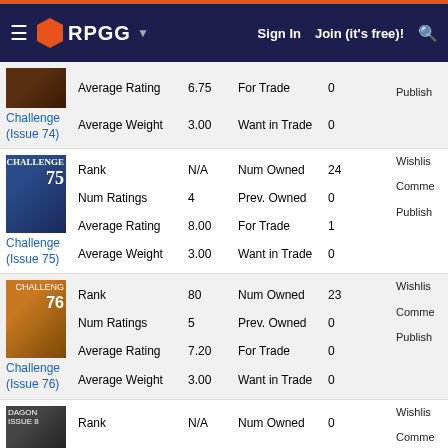RPGG | Sign In | Join (it's free)!
Challenge (Issue 74): Average Rating 6.75, For Trade 0, Average Weight 3.00, Want in Trade 0, Publish
Challenge (Issue 75): Rank N/A, Num Owned 24, Num Ratings 4, Prev. Owned 0, Average Rating 8.00, For Trade 1, Average Weight 3.00, Want in Trade 0, Wishl... Comme... Publish
Challenge (Issue 76): Rank 80, Num Owned 23, Num Ratings 5, Prev. Owned 0, Average Rating 7.20, For Trade 0, Average Weight 3.00, Want in Trade 0, Wishl... Comme... Publish
Dagon (Issue 8 - Jul 1985): Rank N/A, Num Owned 0, Num Ratings 0, Prev. Owned 0, Average Rating 0.00, For Trade 0, Average Weight 0.00, Want in Trade 0, Wishl... Comme... Publish